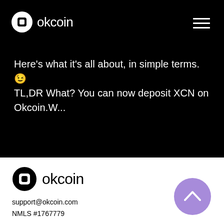[Figure (logo): OKcoin logo white on black background with hamburger menu icon]
Here's what it's all about, in simple terms. 😊 TL,DR What? You can now deposit XCN on Okcoin.W...
[Figure (logo): OKcoin logo dark on white background]
support@okcoin.com
NMLS #1767779